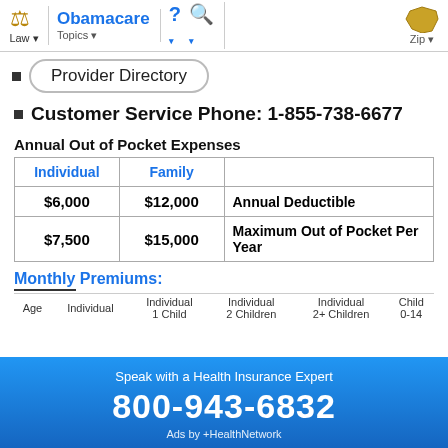Obamacare | Law | Topics | Zip
Provider Directory
Customer Service Phone: 1-855-738-6677
Annual Out of Pocket Expenses
| Individual | Family |  |
| --- | --- | --- |
| $6,000 | $12,000 | Annual Deductible |
| $7,500 | $15,000 | Maximum Out of Pocket Per Year |
Monthly Premiums:
| Age | Individual | Individual 1 Child | Individual 2 Children | Individual 2+ Children | Child 0-14 |
| --- | --- | --- | --- | --- | --- |
Speak with a Health Insurance Expert
800-943-6832
Ads by +HealthNetwork